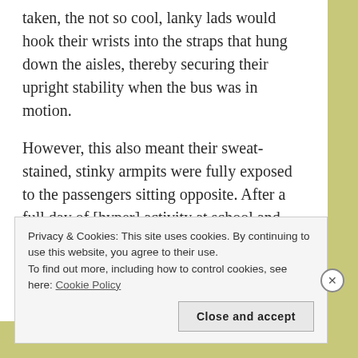taken, the not so cool, lanky lads would hook their wrists into the straps that hung down the aisles, thereby securing their upright stability when the bus was in motion.
However, this also meant their sweat-stained, stinky armpits were fully exposed to the passengers sitting opposite. After a full day of [hyper] activity at school and minimal ventilation inside the bus you could imagine the atmosphere was close to combustion!
Privacy & Cookies: This site uses cookies. By continuing to use this website, you agree to their use.
To find out more, including how to control cookies, see here: Cookie Policy
Close and accept